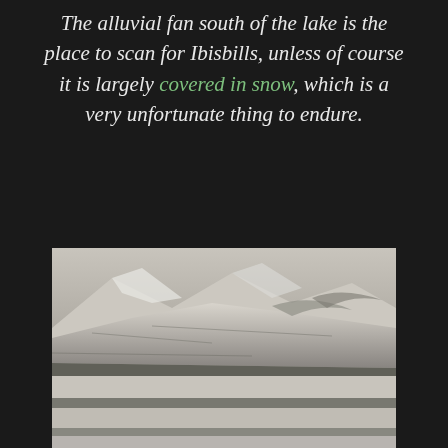The alluvial fan south of the lake is the place to scan for Ibisbills, unless of course it is largely covered in snow, which is a very unfortunate thing to endure.
[Figure (photo): Black and white photograph of an alluvial fan landscape, showing layered rocky and sandy terrain with mountains or hills in the background, partially covered in snow or ice.]